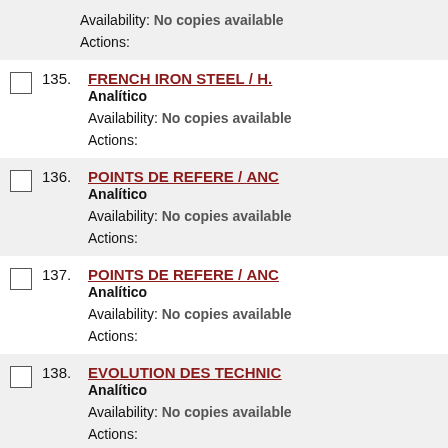Availability: No copies available
Actions:
135. FRENCH IRON STEEL / H. — Analítico
Availability: No copies available
Actions:
136. POINTS DE REFERE / ANC — Analítico
Availability: No copies available
Actions:
137. POINTS DE REFERE / ANC — Analítico
Availability: No copies available
Actions:
138. EVOLUTION DES TECHNIC — Analítico
Availability: No copies available
Actions:
139. POINTS DE REFERE / ANC — Analítico